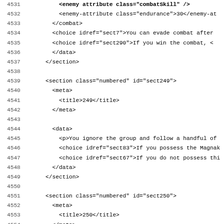Code listing lines 4531-4563, XML source code for a game book
4531: <enemy attribute class="combatSkill" .../>
4532: <enemy-attribute class="endurance">30</enemy-at
4533: </combat>
4534: <choice idref="sect7">You can evade combat after
4535: <choice idref="sect290">If you win the combat, <
4536: </data>
4537: </section>
4538: (blank)
4539: <section class="numbered" id="sect249">
4540: <meta>
4541: <title>249</title>
4542: </meta>
4543: (blank)
4544: <data>
4545: <p>You ignore the group and follow a handful of
4546: <choice idref="sect83">If you possess the Magnak
4547: <choice idref="sect67">If you do not possess thi
4548: </data>
4549: </section>
4550: (blank)
4551: <section class="numbered" id="sect250">
4552: <meta>
4553: <title>250</title>
4554: </meta>
4555: (blank)
4556: <data>
4557: <p>While you languish in the cell, the Death Kni
4558: <deadend>It is Darklord Kraagensk<ch.ucirc/>l wh
4559: </data>
4560: </section>
4561: (blank)
4562: <section class="numbered" id="sect251">
4563: <meta>